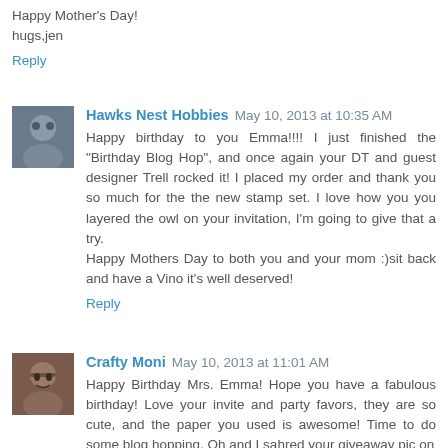Happy Mother's Day!
hugs,jen
Reply
Hawks Nest Hobbies  May 10, 2013 at 10:35 AM
Happy birthday to you Emma!!!! I just finished the "Birthday Blog Hop", and once again your DT and guest designer Trell rocked it! I placed my order and thank you so much for the the new stamp set. I love how you you layered the owl on your invitation, I'm going to give that a try.
Happy Mothers Day to both you and your mom :)sit back and have a Vino it's well deserved!
Reply
Crafty Moni  May 10, 2013 at 11:01 AM
Happy Birthday Mrs. Emma! Hope you have a fabulous birthday! Love your invite and party favors, they are so cute, and the paper you used is awesome! Time to do some blog hopping. Oh and I sahred your giveaway pic on